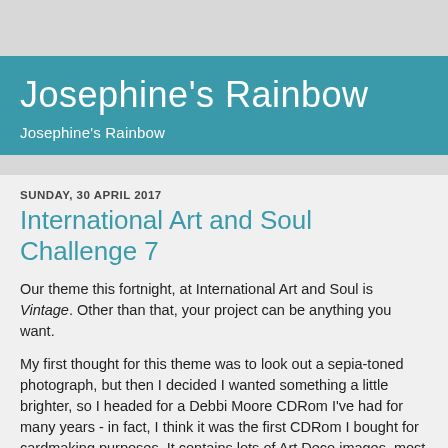Josephine's Rainbow
Josephine's Rainbow
SUNDAY, 30 APRIL 2017
International Art and Soul Challenge 7
Our theme this fortnight, at International Art and Soul is Vintage. Other than that, your project can be anything you want.
My first thought for this theme was to look out a sepia-toned photograph, but then I decided I wanted something a little brighter, so I headed for a Debbi Moore CDRom I've had for many years - in fact, I think it was the first CDRom I bought for cardmaking purposes. It contains lots of Art Deco images, most of which, I think, are vintage, although they may have been 'cleaned up' a bit for the CD.